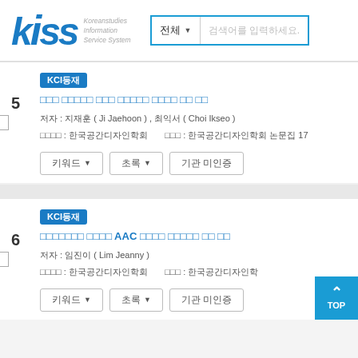[Figure (logo): KISS Koreanstudies Information Service System logo with blue stylized letters and search bar]
5. [KCI등재] 저자: 지재훈 (Ji Jaehoon), 최익서 (Choi Ikseo) | 발행기관: 한국공간디자인학회 | 게재지: 한국공간디자인학회 논문집 17
6. [KCI등재] AAC 관련 항목 | 저자: 임진이 (Lim Jeanny) | 발행기관: 한국공간디자인학회 | 게재지: 한국공간디자인학회